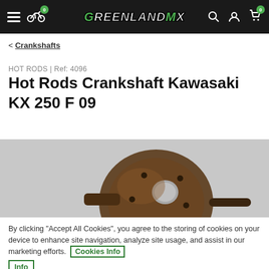GreenlandMX header navigation
< Crankshafts
HOT RODS | Ref: 4096
Hot Rods Crankshaft Kawasaki KX 250 F 09
[Figure (photo): Photo of a Kawasaki KX 250 F crankshaft component, dark bronze/brown metallic finish, shown against a grey background]
By clicking "Accept All Cookies", you agree to the storing of cookies on your device to enhance site navigation, analyze site usage, and assist in our marketing efforts. Cookies Info